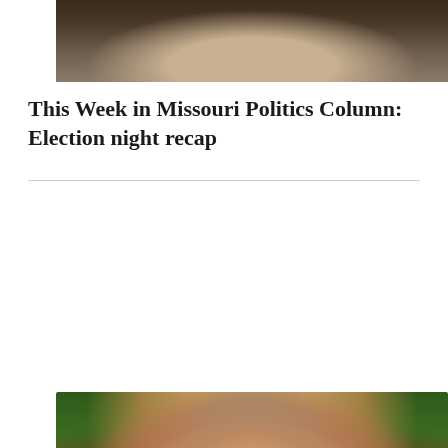[Figure (photo): Top cropped photograph showing what appears to be a wooden structure or sign in background, partially visible]
This Week in Missouri Politics Column: Election night recap
[Figure (photo): Portrait photograph of a smiling middle-aged man with brown hair and beard/mustache, wearing a red and black plaid flannel shirt, with green bokeh foliage background]